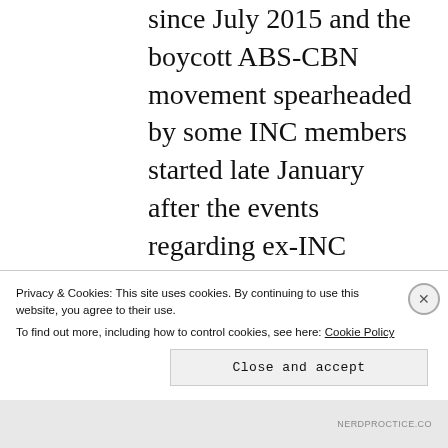since July 2015 and the boycott ABS-CBN movement spearheaded by some INC members started late January after the events regarding ex-INC Minister Lowell Menorca and the so-called “one-sided” coverage of ABS-CBN News, especially the way they handle the drama since July 2015. Religion is not the main focus of this blog.
Privacy & Cookies: This site uses cookies. By continuing to use this website, you agree to their use. To find out more, including how to control cookies, see here: Cookie Policy
Close and accept
NERDPROCTICE.CO